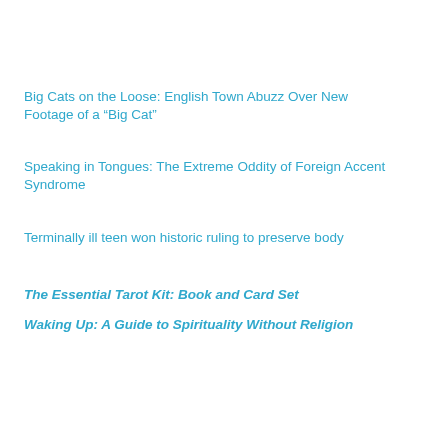Big Cats on the Loose: English Town Abuzz Over New Footage of a “Big Cat”
Speaking in Tongues: The Extreme Oddity of Foreign Accent Syndrome
Terminally ill teen won historic ruling to preserve body
The Essential Tarot Kit: Book and Card Set
Waking Up: A Guide to Spirituality Without Religion